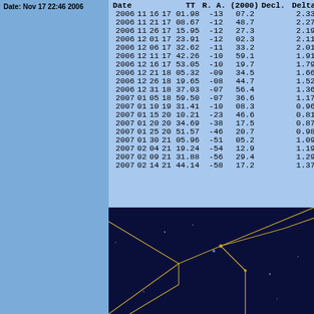Date: Nov 17 22:46 2006
| Date |  |  | TT | R. A. (2000) |  | Decl. |  | Delta | r |
| --- | --- | --- | --- | --- | --- | --- | --- | --- | --- |
| 2006 | 11 | 16 | 17 01.98 | -13 | 07.2 | 2.339 | 1.493 |
| 2006 | 11 | 21 | 17 08.67 | -12 | 48.7 | 2.272 | 1.398 |
| 2006 | 11 | 26 | 17 15.95 | -12 | 27.3 | 2.196 | 1.300 |
| 2006 | 12 | 01 | 17 23.91 | -12 | 02.3 | 2.110 | 1.199 |
| 2006 | 12 | 06 | 17 32.62 | -11 | 33.2 | 2.015 | 1.094 |
| 2006 | 12 | 11 | 17 42.26 | -10 | 59.1 | 1.910 | 0.985 |
| 2006 | 12 | 16 | 17 53.05 | -10 | 19.7 | 1.794 | 0.871 |
| 2006 | 12 | 21 | 18 05.32 | -09 | 34.5 | 1.666 | 0.751 |
| 2006 | 12 | 26 | 18 19.65 | -08 | 44.7 | 1.524 | 0.624 |
| 2006 | 12 | 31 | 18 37.03 | -07 | 56.4 | 1.363 | 0.488 |
| 2007 | 01 | 05 | 18 59.50 | -07 | 36.6 | 1.179 | 0.344 |
| 2007 | 01 | 10 | 19 31.41 | -10 | 08.3 | 0.963 | 0.206 |
| 2007 | 01 | 15 | 20 10.21 | -23 | 46.6 | 0.818 | 0.193 |
| 2007 | 01 | 20 | 20 34.69 | -38 | 17.5 | 0.875 | 0.326 |
| 2007 | 01 | 25 | 20 51.57 | -46 | 20.7 | 0.985 | 0.471 |
| 2007 | 01 | 30 | 21 05.96 | -51 | 05.2 | 1.096 | 0.608 |
| 2007 | 02 | 04 | 21 19.24 | -54 | 12.9 | 1.198 | 0.736 |
| 2007 | 02 | 09 | 21 31.88 | -56 | 29.4 | 1.290 | 0.857 |
| 2007 | 02 | 14 | 21 44.14 | -58 | 17.2 | 1.373 | 0.971 |
[Figure (screenshot): Dark blue star chart showing constellation lines (golden/yellow lines connecting stars) against a deep blue night sky background. Several stars and a faint object (comet?) are visible with connecting lines forming a 'V' or branching pattern.]